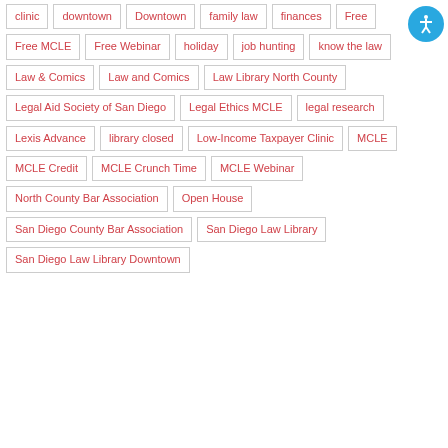clinic
downtown
Downtown
family law
finances
Free
Free MCLE
Free Webinar
holiday
job hunting
know the law
Law & Comics
Law and Comics
Law Library North County
Legal Aid Society of San Diego
Legal Ethics MCLE
legal research
Lexis Advance
library closed
Low-Income Taxpayer Clinic
MCLE
MCLE Credit
MCLE Crunch Time
MCLE Webinar
North County Bar Association
Open House
San Diego County Bar Association
San Diego Law Library
San Diego Law Library Downtown